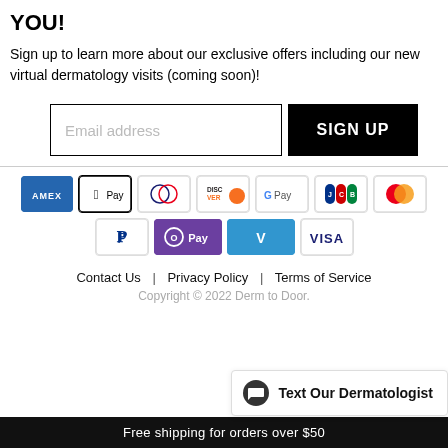YOU!
Sign up to learn more about our exclusive offers including our new virtual dermatology visits (coming soon)!
[Figure (screenshot): Email address input field with placeholder text 'Email address' and a black 'SIGN UP' button]
[Figure (infographic): Payment method icons: Amex, Apple Pay, Diners Club, Discover, Google Pay, JCB, Mastercard, PayPal, Shop Pay, Venmo, Visa]
Contact Us | Privacy Policy | Terms of Service
Copyright © 2022 Derm to Door.
Text Our Dermatologist
Free shipping for orders over $50